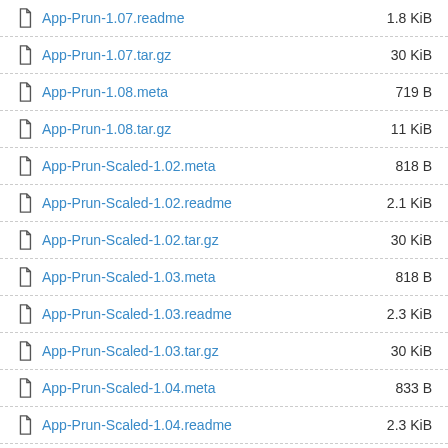App-Prun-1.07.readme
App-Prun-1.07.tar.gz
App-Prun-1.08.meta
App-Prun-1.08.tar.gz
App-Prun-Scaled-1.02.meta
App-Prun-Scaled-1.02.readme
App-Prun-Scaled-1.02.tar.gz
App-Prun-Scaled-1.03.meta
App-Prun-Scaled-1.03.readme
App-Prun-Scaled-1.03.tar.gz
App-Prun-Scaled-1.04.meta
App-Prun-Scaled-1.04.readme